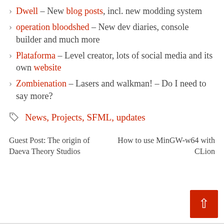Dwell – New blog posts, incl. new modding system
operation bloodshed – New dev diaries, console builder and much more
Plataforma – Level creator, lots of social media and its own website
Zombienation – Lasers and walkman! – Do I need to say more?
News, Projects, SFML, updates
Guest Post: The origin of Daeva Theory Studios
How to use MinGW-w64 with CLion